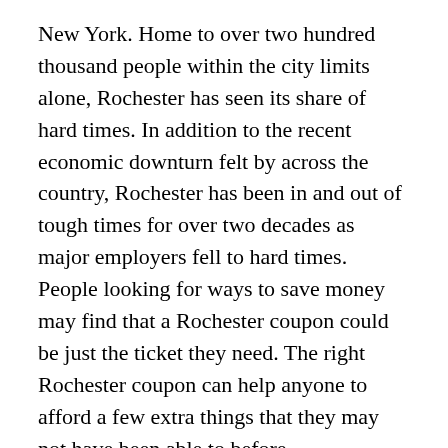New York. Home to over two hundred thousand people within the city limits alone, Rochester has seen its share of hard times. In addition to the recent economic downturn felt by across the country, Rochester has been in and out of tough times for over two decades as major employers fell to hard times. People looking for ways to save money may find that a Rochester coupon could be just the ticket they need. The right Rochester coupon can help anyone to afford a few extra things that they may not have been able to before.
The grocery store is typically one of the first places people curtail their spending during tough times. Thankfully, there are many local